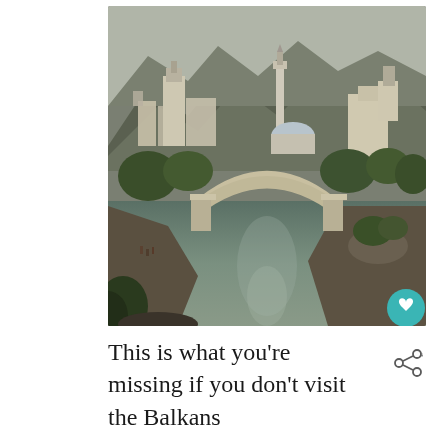[Figure (photo): Photograph of Mostar, Bosnia and Herzegovina. Shows the iconic Old Bridge (Stari Most) arching over the Neretva River. Historic stone buildings and a mosque minaret visible in the background, with mountains beyond. Green trees line the riverbanks. A small heart/like button (teal circle with heart icon) is visible in the bottom-right corner of the image.]
This is what you're missing if you don't visit the Balkans